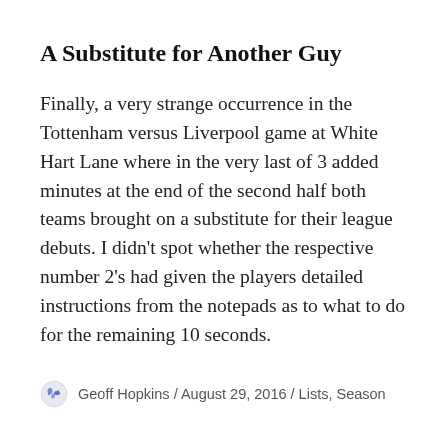A Substitute for Another Guy
Finally, a very strange occurrence in the Tottenham versus Liverpool game at White Hart Lane where in the very last of 3 added minutes at the end of the second half both teams brought on a substitute for their league debuts. I didn’t spot whether the respective number 2’s had given the players detailed instructions from the notepads as to what to do for the remaining 10 seconds.
Geoff Hopkins / August 29, 2016 / Lists, Season